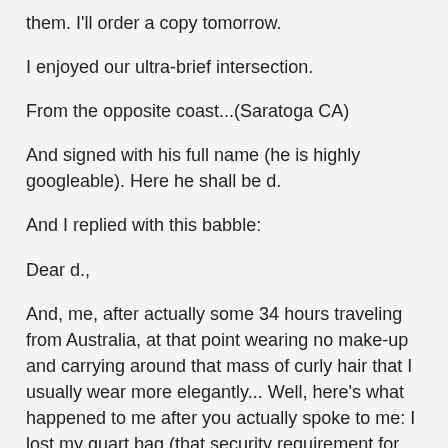them. I'll order a copy tomorrow.
I enjoyed our ultra-brief intersection.
From the opposite coast...(Saratoga CA)
And signed with his full name (he is highly googleable). Here he shall be d.
And I replied with this babble:
Dear d.,
And, me, after actually some 34 hours traveling from Australia, at that point wearing no make-up and carrying around that mass of curly hair that I usually wear more elegantly... Well, here's what happened to me after you actually spoke to me: I lost my quart bag (that security requirement for lipstick, etc.), because I became flustered—more below on this state of mind. The quart bag had in it my perfume (Opium, BTW) and other quite expensive little bits of female trivia, considered essential by this female to cover